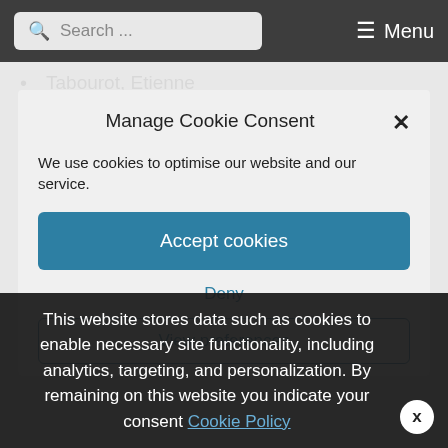Search ... Menu
Tabourot, Etienne
1549-1590
Manage Cookie Consent
We use cookies to optimise our website and our service.
Accept cookies
Deny
View preferences
This website stores data such as cookies to enable necessary site functionality, including analytics, targeting, and personalization. By remaining on this website you indicate your consent Cookie Policy